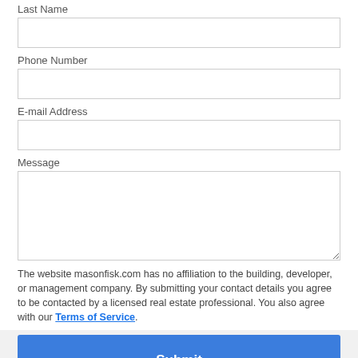Last Name
Phone Number
E-mail Address
Message
The website masonfisk.com has no affiliation to the building, developer, or management company. By submitting your contact details you agree to be contacted by a licensed real estate professional. You also agree with our Terms of Service.
Submit
Click on the map below for directions.
Mason-Fisk, 72 Berry Street, Brooklyn, NY, 11249 NYC Condominiums